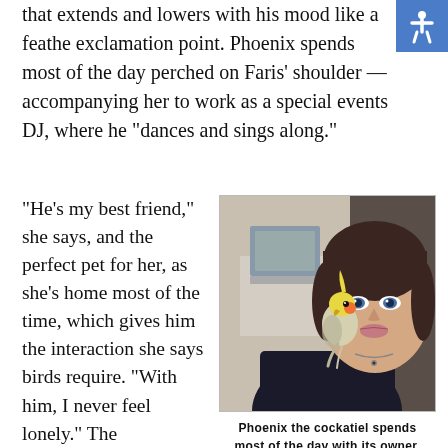that extends and lowers with his mood like a feathered exclamation point. Phoenix spends most of the day perched on Faris' shoulder — accompanying her to work as a special events DJ, where he "dances and sings along."
"He's my best friend," she says, and the perfect pet for her, as she's home most of the time, which gives him the interaction she says birds require. "With him, I never feel lonely." The opinionated bird even makes sure Faris takes her afternoon
[Figure (photo): A woman with blue eyes and dark hair pulled back, wearing a dark jacket and necklace, with a cockatiel (yellow and grey) perched near her shoulder/neck. Background shows an office or room setting.]
Phoenix the cockatiel spends most of the day with its owner, Stephanie Faris.